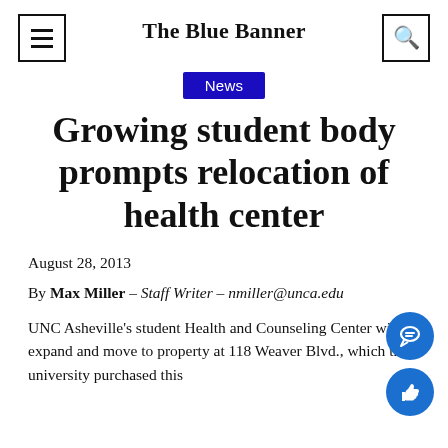The Blue Banner
News
Growing student body prompts relocation of health center
August 28, 2013
By Max Miller – Staff Writer – nmiller@unca.edu
UNC Asheville's student Health and Counseling Center will expand and move to property at 118 Weaver Blvd., which the university purchased this